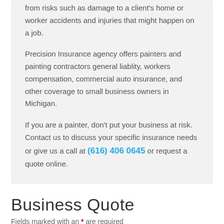from risks such as damage to a client's home or worker accidents and injuries that might happen on a job.
Precision Insurance agency offers painters and painting contractors general liablity, workers compensation, commercial auto insurance, and other coverage to small business owners in Michigan.
If you are a painter, don't put your business at risk. Contact us to discuss your specific insurance needs or give us a call at (616) 406 0645 or request a quote online.
Business Quote
Fields marked with an * are required
First Name *